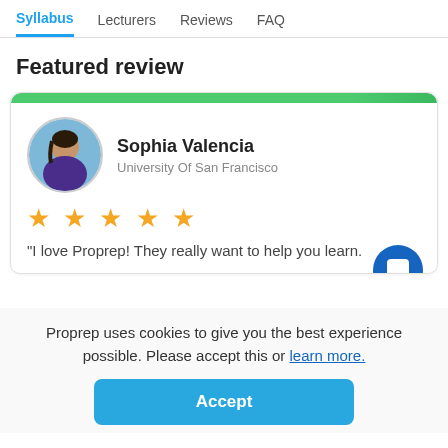Syllabus  Lecturers  Reviews  FAQ
Featured review
[Figure (illustration): Review card with green top bar, circular avatar photo of Sophia Valencia, name, university, 5 yellow stars, and partial review quote. A blue chat bubble icon appears at bottom right.]
Proprep uses cookies to give you the best experience possible. Please accept this or learn more.
Accept